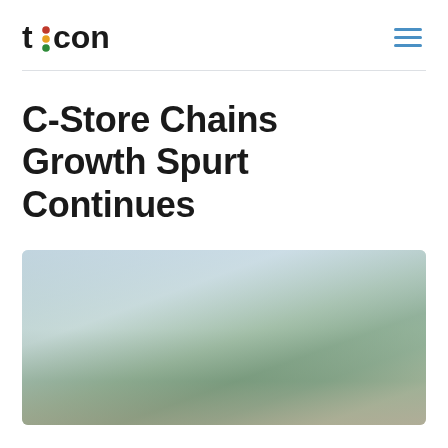ticon
C-Store Chains Growth Spurt Continues
[Figure (photo): Exterior photograph of a convenience store building, blurred/out-of-focus image showing building facade with green trees and light blue sky in background.]